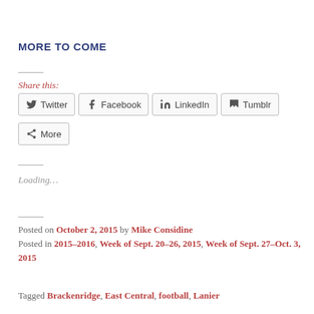MORE TO COME
Share this:
Twitter  Facebook  LinkedIn  Tumblr  More
Loading…
Posted on October 2, 2015 by Mike Considine
Posted in 2015–2016, Week of Sept. 20–26, 2015, Week of Sept. 27–Oct. 3, 2015
Tagged Brackenridge, East Central, football, Lanier